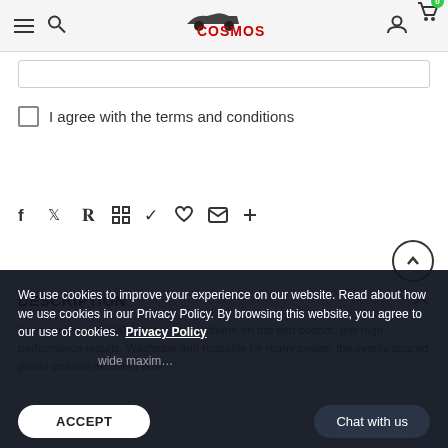Cosmos - navigation header with logo, search, account and cart icons
I agree with the terms and conditions
[Figure (other): Social sharing icons row: Facebook, Twitter, Pinterest, Grid, Feather/Blogger, Heart, Email, Plus]
DESCRIPTION
Constructed with 100-percent polyurethane on top and bottom, this high performance results. Washable and reusable for many cycles, the evenly spaced pleats provide excellent dust
We use cookies to improve your experience on our website. Read about how we use cookies in our Privacy Policy. By browsing this website, you agree to our use of cookies. Privacy Policy
ACCEPT
Chat with us